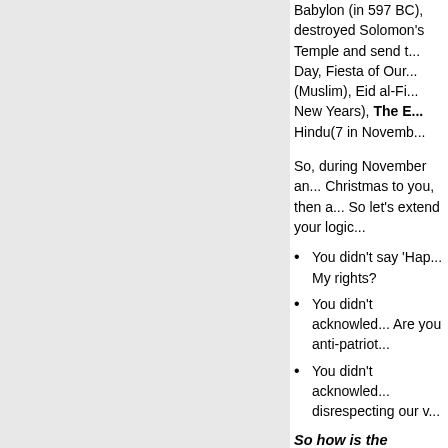Babylon (in 597 BC), destroyed Solomon's Temple and send the Jews into exile), Guy Fawkes Day, Fiesta of Our Lady of Guadalupe (Muslim), Eid al-Fitr (Muslim), Chinese and Jewish New Years), The E... Hindu(7 in Novemb...
So, during November and... Christmas to you, then a... So let's extend your logic...
You didn't say 'Hap... My rights?
You didn't acknowledge... Are you anti-patriot...
You didn't acknowledge... disrespecting our v...
So how is the choice...
Everything...
The Holidays: An 8 par...